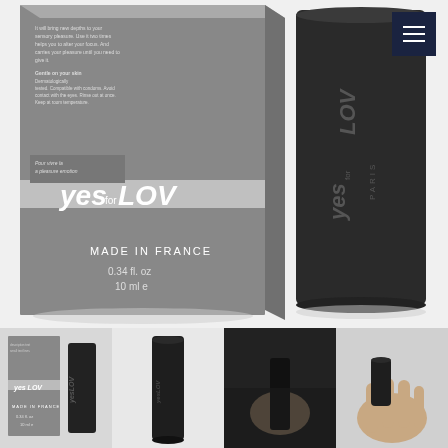[Figure (photo): Product photo showing a grey YesForLov box (MADE IN FRANCE, 0.34 fl. oz, 10 ml) alongside a black cylindrical YesForLov PARIS bottle/sprayer on a white background]
[Figure (photo): Four thumbnail product images: 1) YesForLov box and spray bottle together, 2) black spray bottle alone standing upright, 3) hand holding the black spray bottle against dark fabric, 4) hand holding the small black vial/device against grey background]